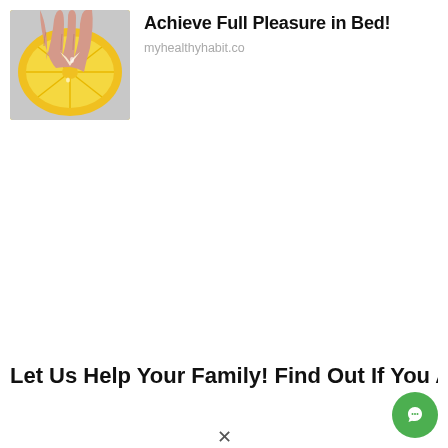[Figure (photo): Photo of a hand squeezing a lemon slice, with juice visible]
Achieve Full Pleasure in Bed!
myhealthyhabit.co
Let Us Help Your Family! Find Out If You Are